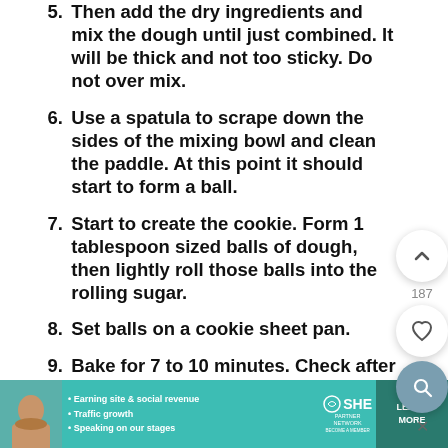5. Then add the dry ingredients and mix the dough until just combined. It will be thick and not too sticky. Do not over mix.
6. Use a spatula to scrape down the sides of the mixing bowl and clean the paddle. At this point it should start to form a ball.
7. Start to create the cookie. Form 1 tablespoon sized balls of dough, then lightly roll those balls into the rolling sugar.
8. Set balls on a cookie sheet pan.
9. Bake for 7 to 10 minutes. Check after 7. The cookies should be soft in the center but done.
10. Make sure to remove the cookies before the edges turn golden brown, you do not want to overbake them.
[Figure (screenshot): Advertisement banner for SHE Partner Network with teal background, woman photo, bullet points about earning, traffic, speaking, SHE logo, and LEARN MORE button.]